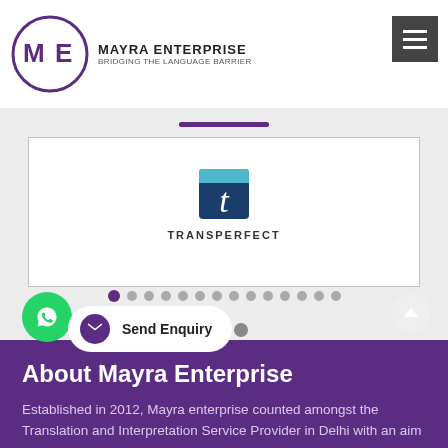[Figure (logo): Mayra Enterprise logo — circular ME emblem in purple outline with text MAYRA ENTERPRISE and tagline BRIDGING THE LANGUAGE BARRIER]
MAYRA ENTERPRISE — BRIDGING THE LANGUAGE BARRIER
[Figure (logo): TransPerfect logo — stylized T in blue/teal square with TRANSPERFECT text below]
[Figure (infographic): Carousel navigation dots — one purple active dot followed by 13 grey dots, and two grey dots below]
About Mayra Enterprise
Established in 2012, Mayra enterprise counted amongst the Translation and Interpretation Service Provider in Delhi with an aim to break all the ...